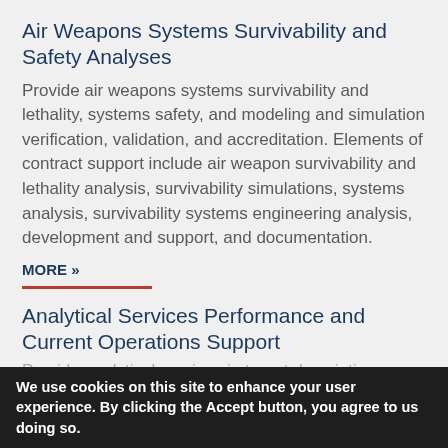Air Weapons Systems Survivability and Safety Analyses
Provide air weapons systems survivability and lethality, systems safety, and modeling and simulation verification, validation, and accreditation. Elements of contract support include air weapon survivability and lethality analysis, survivability simulations, systems analysis, survivability systems engineering analysis, development and support, and documentation.
MORE »
Analytical Services Performance and Current Operations Support
Provide analytical services in target descriptions.
We use cookies on this site to enhance your user experience. By clicking the Accept button, you agree to us doing so.